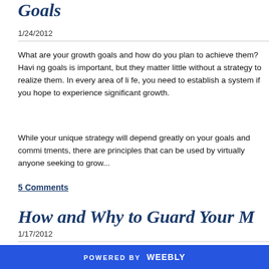Goals
1/24/2012
What are your growth goals and how do you plan to achieve them? Having goals is important, but they matter little without a strategy to realize them. In every area of life, you need to establish a system if you hope to experience significant growth.
While your unique strategy will depend greatly on your goals and commitments, there are principles that can be used by virtually anyone seeking to grow...
5 Comments
How and Why to Guard Your M
1/17/2012
POWERED BY weebly